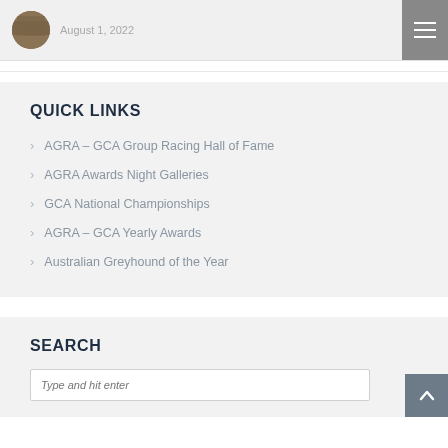August 1, 2022
QUICK LINKS
AGRA – GCA Group Racing Hall of Fame
AGRA Awards Night Galleries
GCA National Championships
AGRA – GCA Yearly Awards
Australian Greyhound of the Year
SEARCH
Type and hit enter